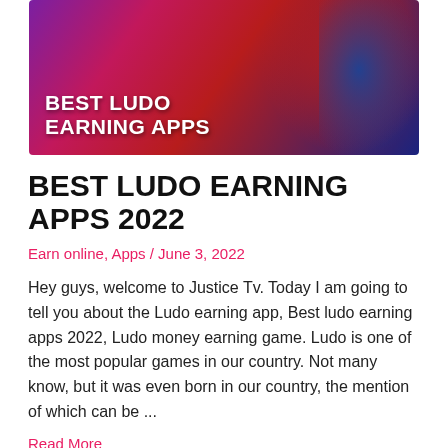[Figure (photo): Hero banner image showing a person with red/pink tones and blue lighting background, with text overlay 'BEST LUDO EARNING APPS' in bold white capital letters]
BEST LUDO EARNING APPS 2022
Earn online, Apps / June 3, 2022
Hey guys, welcome to Justice Tv. Today I am going to tell you about the Ludo earning app, Best ludo earning apps 2022, Ludo money earning game. Ludo is one of the most popular games in our country. Not many know, but it was even born in our country, the mention of which can be ...
Read More